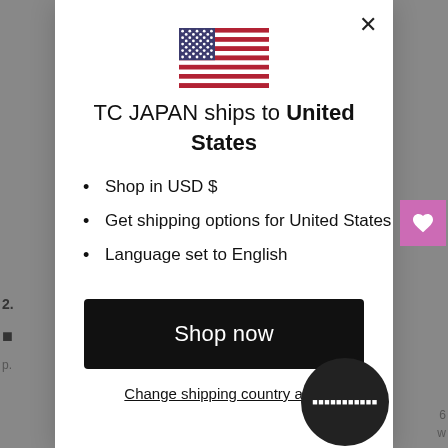[Figure (illustration): US flag emoji/icon centered at top of modal dialog]
TC JAPAN ships to United States
Shop in USD $
Get shipping options for United States
Language set to English
Shop now
Change shipping country an...